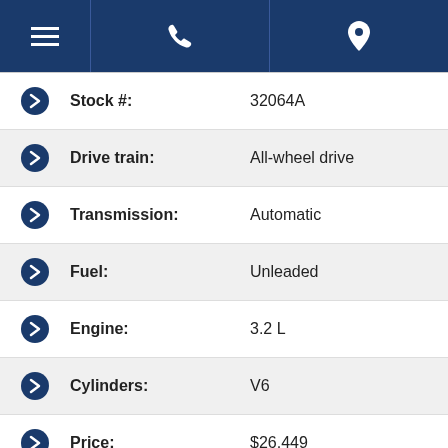[Figure (screenshot): Navigation bar with hamburger menu, phone icon, and location pin icon on dark blue background]
|  | Spec | Value |
| --- | --- | --- |
| › | Stock #: | 32064A |
| › | Drive train: | All-wheel drive |
| › | Transmission: | Automatic |
| › | Fuel: | Unleaded |
| › | Engine: | 3.2 L |
| › | Cylinders: | V6 |
| › | Price: | $26,449 |
*Stock: 32064A. Prices do not include sales taxes, licensing, other options, installation, administration and other dealer program fees. Data and prices are transferred by a third-party and we cannot guarantee their accuracy.
Jeep Cherokee Ltd Awd
JEEP CHEROKEE LIMITED AWD